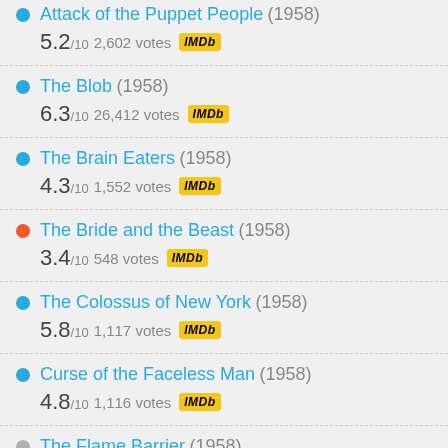Attack of the Puppet People (1958) 5.2/10 2,602 votes IMDb
The Blob (1958) 6.3/10 26,412 votes IMDb
The Brain Eaters (1958) 4.3/10 1,552 votes IMDb
The Bride and the Beast (1958) 3.4/10 548 votes IMDb
The Colossus of New York (1958) 5.8/10 1,117 votes IMDb
Curse of the Faceless Man (1958) 4.8/10 1,116 votes IMDb
The Flame Barrier (1958)